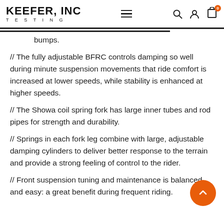KEEFER, INC TESTING
bumps.
// The fully adjustable BFRC controls damping so well during minute suspension movements that ride comfort is increased at lower speeds, while stability is enhanced at higher speeds.
// The Showa coil spring fork has large inner tubes and rod pipes for strength and durability.
// Springs in each fork leg combine with large, adjustable damping cylinders to deliver better response to the terrain and provide a strong feeling of control to the rider.
// Front suspension tuning and maintenance is balanced and easy: a great benefit during frequent riding.